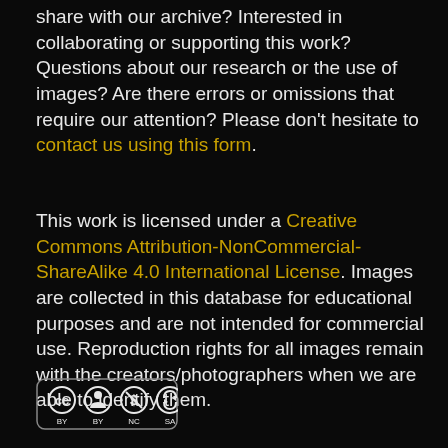share with our archive? Interested in collaborating or supporting this work? Questions about our research or the use of images? Are there errors or omissions that require our attention? Please don't hesitate to contact us using this form.
This work is licensed under a Creative Commons Attribution-NonCommercial-ShareAlike 4.0 International License. Images are collected in this database for educational purposes and are not intended for commercial use. Reproduction rights for all images remain with the creators/photographers when we are able to identify them.
[Figure (logo): Creative Commons BY-NC-SA license badge icon]